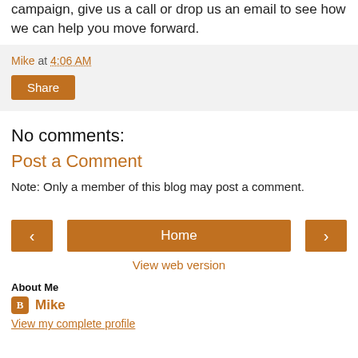campaign, give us a call or drop us an email to see how we can help you move forward.
Mike at 4:06 AM
Share
No comments:
Post a Comment
Note: Only a member of this blog may post a comment.
Home
View web version
About Me
Mike
View my complete profile